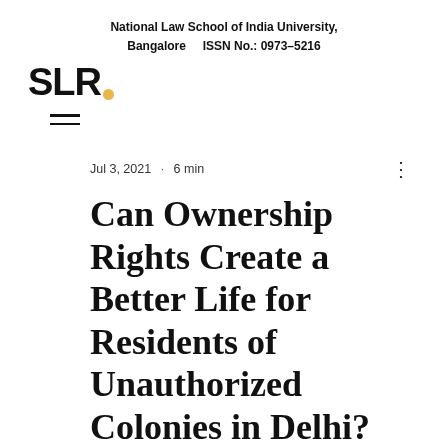National Law School of India University, Bangalore    ISSN No.: 0973-5216
[Figure (logo): SLR logo with bold black text and a yellow dot]
[Figure (other): Hamburger menu icon with two horizontal lines]
Jul 3, 2021  ·  6 min
Can Ownership Rights Create a Better Life for Residents of Unauthorized Colonies in Delhi?
Updated: Aug 22, 2021
- Prerna Prabhakar*